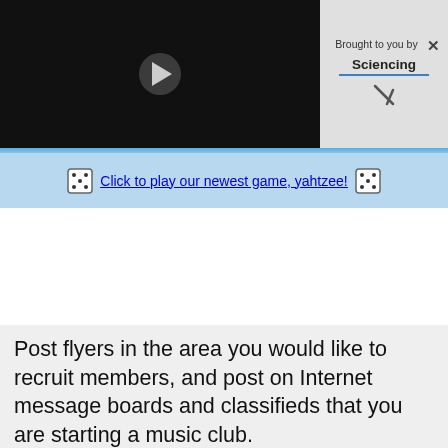[Figure (screenshot): Video player with dark background and white play button triangle in center]
Brought to you by Sciencing
[Figure (screenshot): Blue banner with dice icons and text: Click to play our newest game, yahtzee!]
Post flyers in the area you would like to recruit members, and post on Internet message boards and classifieds that you are starting a music club.